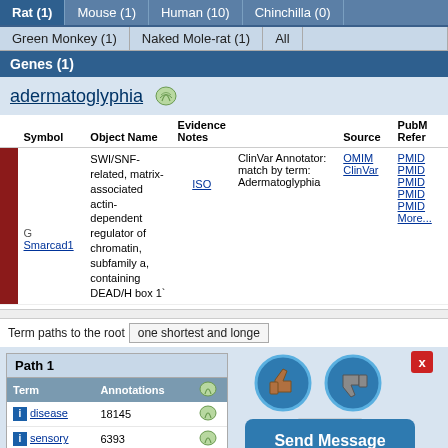Rat (1) | Mouse (1) | Human (10) | Chinchilla (0) | Green Monkey (1) | Naked Mole-rat (1) | All
Genes (1)
adermatoglyphia
| Symbol | Object Name | Evidence Notes | Source | PubMed References |
| --- | --- | --- | --- | --- |
| G Smarcad1 | SWI/SNF-related, matrix-associated actin-dependent regulator of chromatin, subfamily a, containing DEAD/H box 1` | ISO | ClinVar Annotator: match by term: Adermatoglyphia | OMIM ClinVar | PMID PMID PMID PMID PMID More... |
Term paths to the root | one shortest and longe...
Path 1
| Term | Annotations |
| --- | --- |
| disease | 18145 |
| sensory ... | 6393 |
[Figure (screenshot): UI overlay with thumbs up/thumbs down buttons, a close button (x), and a Send Message button in blue. Background shows tooltip nodes labeled 'disease' and 'DOID:4' with arrow lines.]